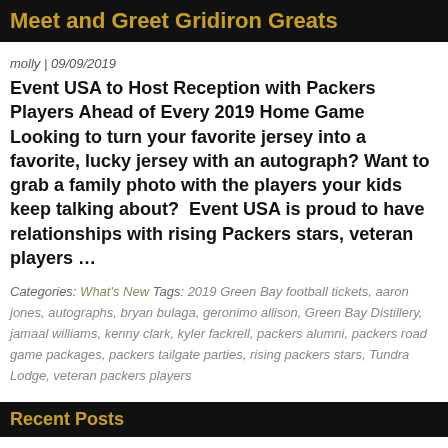Meet and Greet Gridiron Greats
molly | 09/09/2019
Event USA to Host Reception with Packers Players Ahead of Every 2019 Home Game Looking to turn your favorite jersey into a favorite, lucky jersey with an autograph? Want to grab a family photo with the players your kids keep talking about?  Event USA is proud to have relationships with rising Packers stars, veteran players …
Categories: What's New Tags: 2019 Green Bay football tickets, aaron jones, autographs, bryan bulaga, geronimo allison, Green Bay Distillery, jamaal williams, kenny clark, kyler fackrell, packers alumni, packers road game packages, packers tailgate parties, rising packers stars, Tundra Lodge, veteran packers players
Recent Posts
Packers' defense: 'The Dre and Quay Show'